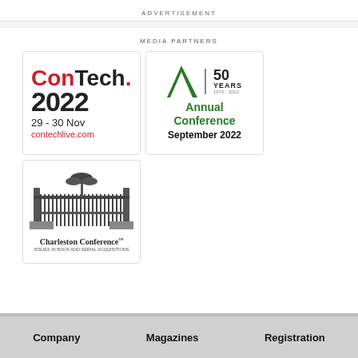ADVERTISEMENT
MEDIA PARTNERS
[Figure (logo): ConTech. 2022 logo with text '29 - 30 Nov' and 'contechlive.com']
[Figure (logo): ALPSP 50 YEARS 1972-2022 Annual Conference September 2022]
[Figure (logo): Charleston Conference logo with ornate gate illustration and text 'Issues in Book and Serial Acquisition']
Company   Magazines   Registration